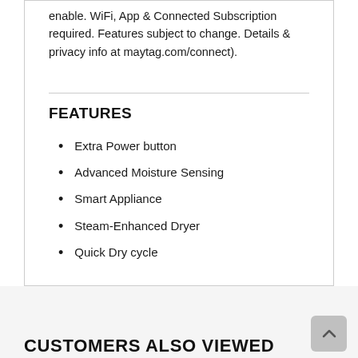enable. WiFi, App & Connected Subscription required. Features subject to change. Details & privacy info at maytag.com/connect).
FEATURES
Extra Power button
Advanced Moisture Sensing
Smart Appliance
Steam-Enhanced Dryer
Quick Dry cycle
CUSTOMERS ALSO VIEWED